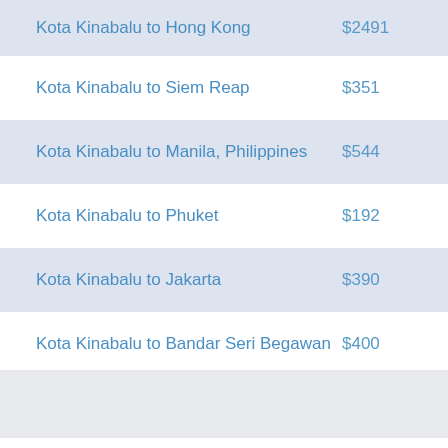| Route | Price |
| --- | --- |
| Kota Kinabalu to Hong Kong | $2491 |
| Kota Kinabalu to Siem Reap | $351 |
| Kota Kinabalu to Manila, Philippines | $544 |
| Kota Kinabalu to Phuket | $192 |
| Kota Kinabalu to Jakarta | $390 |
| Kota Kinabalu to Bandar Seri Begawan | $400 |
Cheap Domestic Flights to Ho Chi Minh City — SGN...